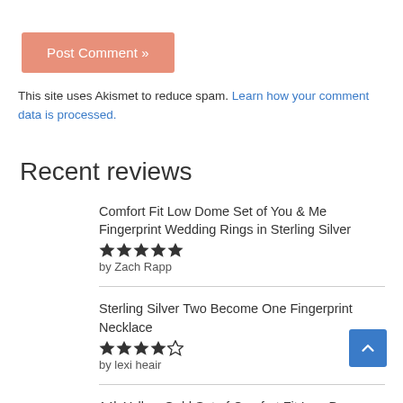Post Comment »
This site uses Akismet to reduce spam. Learn how your comment data is processed.
Recent reviews
Comfort Fit Low Dome Set of You & Me Fingerprint Wedding Rings in Sterling Silver
★★★★★
by Zach Rapp
Sterling Silver Two Become One Fingerprint Necklace
★★★★☆
by lexi heair
14k Yellow Gold Set of Comfort Fit Low Dome